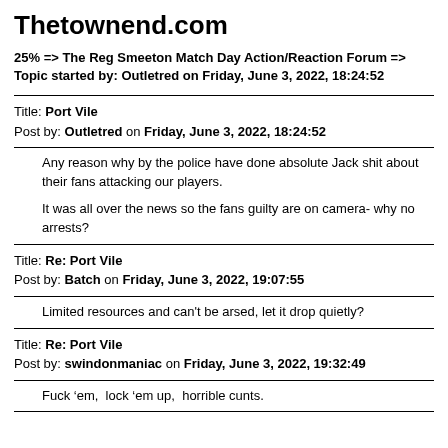Thetownend.com
25% => The Reg Smeeton Match Day Action/Reaction Forum => Topic started by: Outletred on Friday, June 3, 2022, 18:24:52
Title: Port Vile
Post by: Outletred on Friday, June 3, 2022, 18:24:52
Any reason why by the police have done absolute Jack shit about their fans attacking our players.

It was all over the news so the fans guilty are on camera- why no arrests?
Title: Re: Port Vile
Post by: Batch on Friday, June 3, 2022, 19:07:55
Limited resources and can't be arsed, let it drop quietly?
Title: Re: Port Vile
Post by: swindonmaniac on Friday, June 3, 2022, 19:32:49
Fuck ‘em,  lock ‘em up,  horrible cunts.